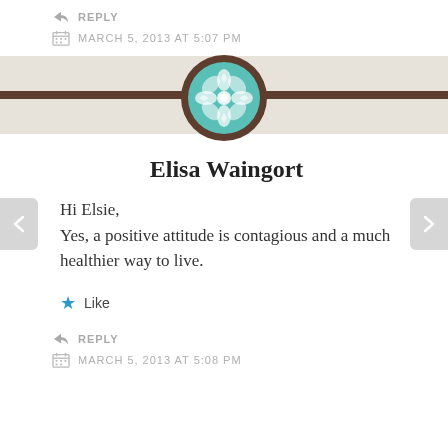↳ REPLY
MARCH 5, 2013 AT 5:07 PM
[Figure (illustration): Decorative divider with beige background, brown horizontal line, and a teal/turquoise circular medallion with geometric floral pattern in the center]
Elisa Waingort
Hi Elsie, Yes, a positive attitude is contagious and a much healthier way to live.
★ Like
↳ REPLY
MARCH 5, 2013 AT 5:08 PM